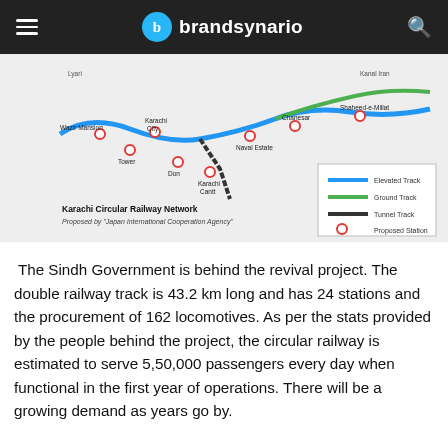brandsynario
[Figure (map): Karachi Circular Railway Network map proposed by Japan International Cooperation Agency. Shows elevated track (blue), ground track (green), tunnel track (black), and proposed stations (red circles). Stations include Wazir Mansion, Karachi City, Tower, Don, Karachi Cantt, Naval Estate, Chanesar, Shaheed-e-Millat, and others.]
Karachi Circular Railway Network
Proposed by "Japan International Cooperation Agency"
The Sindh Government is behind the revival project. The double railway track is 43.2 km long and has 24 stations and the procurement of 162 locomotives. As per the stats provided by the people behind the project, the circular railway is estimated to serve 5,50,000 passengers every day when functional in the first year of operations. There will be a growing demand as years go by.